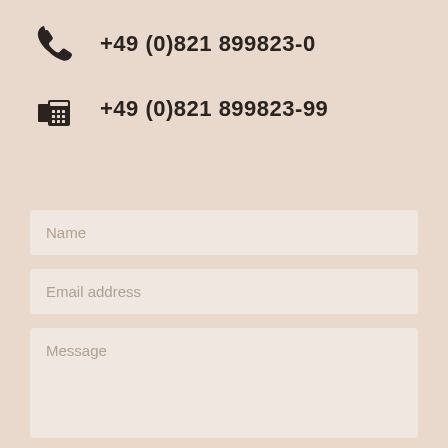+49 (0)821 899823-0
+49 (0)821 899823-99
Name
Email address
Message